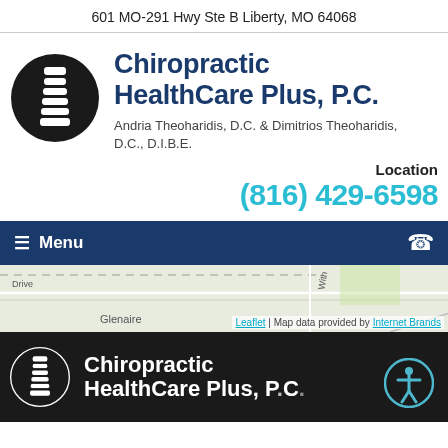601 MO-291 Hwy Ste B Liberty, MO 64068
Chiropractic HealthCare Plus, P.C.
Andria Theoharidis, D.C. & Dimitrios Theoharidis, D.C., D.I.B.E.
Location
(816) 429-6598
☰ Menu
[Figure (map): Street map showing area near Liberty, MO with roads labeled Glenaire and With, with map attribution to Leaflet and Internet Brands]
Leaflet | Map data provided by Internet Brands
Chiropractic HealthCare Plus, P.C.